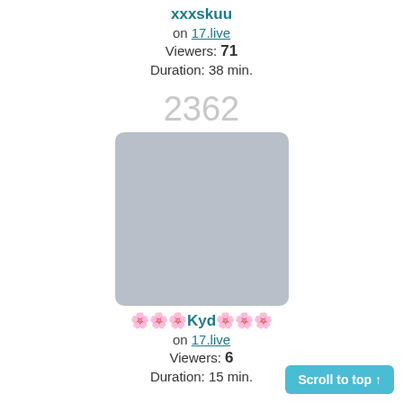xxxskuu
on 17.live
Viewers: 71
Duration: 38 min.
2362
[Figure (photo): Gray placeholder thumbnail image for a live stream]
🌸🌸🌸Kyd🌸🌸🌸
on 17.live
Viewers: 6
Duration: 15 min.
Scroll to top ↑